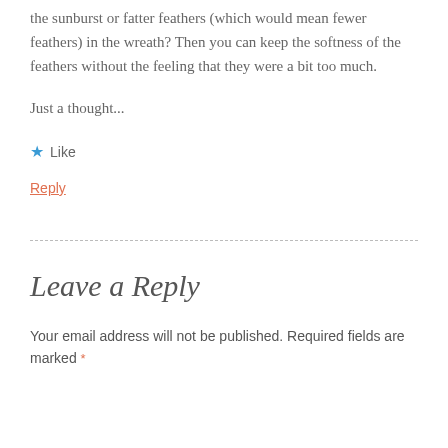the sunburst or fatter feathers (which would mean fewer feathers) in the wreath? Then you can keep the softness of the feathers without the feeling that they were a bit too much.
Just a thought...
★ Like
Reply
Leave a Reply
Your email address will not be published. Required fields are marked *